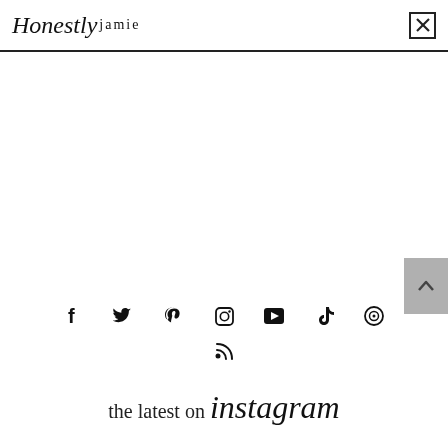Honestly jamie [close button icon]
[Figure (other): Gray scroll-to-top button with upward caret arrow on the right side]
[Figure (other): Row of social media icons: Facebook, Twitter, Pinterest, Instagram, YouTube, TikTok, Bloglovin, RSS feed]
the latest on instagram